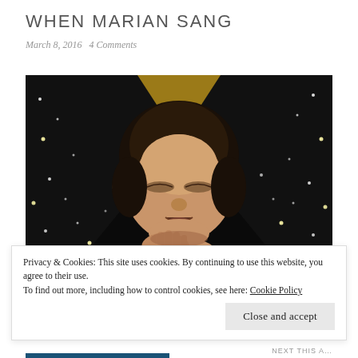WHEN MARIAN SANG
March 8, 2016   4 Comments
[Figure (illustration): Painting of a woman with closed eyes, hand raised to her chin, with a golden/ochre halo-like arc behind her head and starry black wings on either side. The style is representational and painterly.]
Privacy & Cookies: This site uses cookies. By continuing to use this website, you agree to their use.
To find out more, including how to control cookies, see here: Cookie Policy
Close and accept